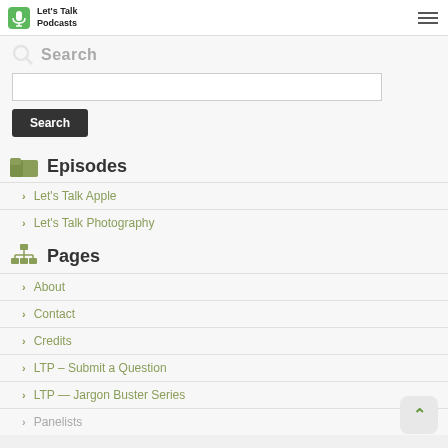Let's Talk Podcasts
Search
Episodes
Let's Talk Apple
Let's Talk Photography
Pages
About
Contact
Credits
LTP – Submit a Question
LTP — Jargon Buster Series
Panelists